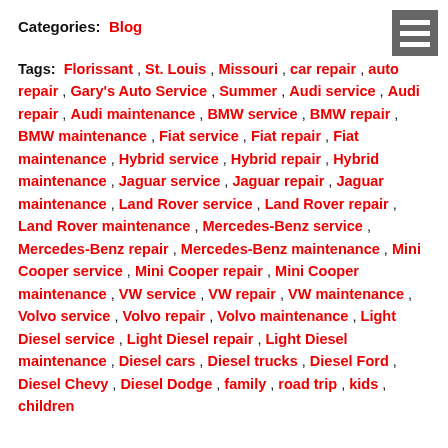Categories: Blog
Tags: Florissant , St. Louis , Missouri , car repair , auto repair , Gary's Auto Service , Summer , Audi service , Audi repair , Audi maintenance , BMW service , BMW repair , BMW maintenance , Fiat service , Fiat repair , Fiat maintenance , Hybrid service , Hybrid repair , Hybrid maintenance , Jaguar service , Jaguar repair , Jaguar maintenance , Land Rover service , Land Rover repair , Land Rover maintenance , Mercedes-Benz service , Mercedes-Benz repair , Mercedes-Benz maintenance , Mini Cooper service , Mini Cooper repair , Mini Cooper maintenance , VW service , VW repair , VW maintenance , Volvo service , Volvo repair , Volvo maintenance , Light Diesel service , Light Diesel repair , Light Diesel maintenance , Diesel cars , Diesel trucks , Diesel Ford , Diesel Chevy , Diesel Dodge , family , road trip , kids , children